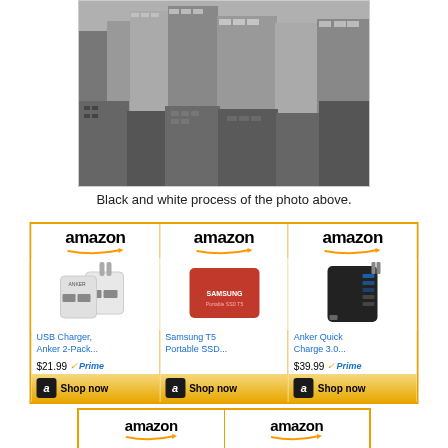[Figure (photo): Black and white aerial photo of a city skyline with skyscrapers]
Black and white process of the photo above.
[Figure (infographic): Amazon advertisement row with three products: USB Charger Anker 2-Pack ($21.99 Prime), Samsung T5 Portable SSD, Anker Quick Charge 3.0 ($39.99 Prime), each with Shop now buttons]
[Figure (infographic): Amazon advertisement row bottom partial - two amazon logo cells]